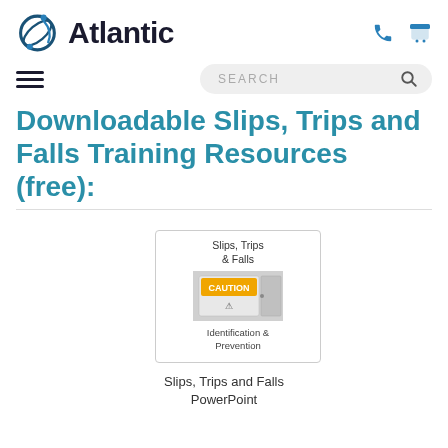Atlantic
[Figure (logo): Atlantic company logo with circular globe/person icon and the word 'Atlantic' in bold dark text, plus phone and shopping cart icons]
Downloadable Slips, Trips and Falls Training Resources (free):
[Figure (photo): Product card showing 'Slips, Trips & Falls' training material with a CAUTION sign photo and text 'Identification & Prevention']
Slips, Trips and Falls PowerPoint